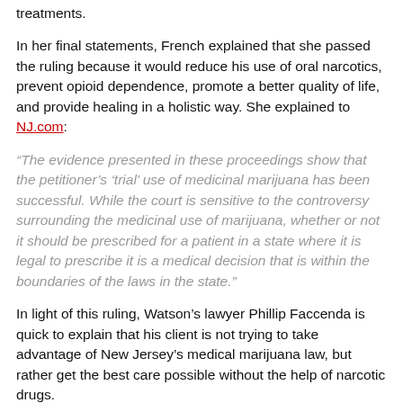treatments.
In her final statements, French explained that she passed the ruling because it would reduce his use of oral narcotics, prevent opioid dependence, promote a better quality of life, and provide healing in a holistic way. She explained to NJ.com:
“The evidence presented in these proceedings show that the petitioner’s ‘trial’ use of medicinal marijuana has been successful. While the court is sensitive to the controversy surrounding the medicinal use of marijuana, whether or not it should be prescribed for a patient in a state where it is legal to prescribe it is a medical decision that is within the boundaries of the laws in the state.”
In light of this ruling, Watson’s lawyer Phillip Faccenda is quick to explain that his client is not trying to take advantage of New Jersey’s medical marijuana law, but rather get the best care possible without the help of narcotic drugs.